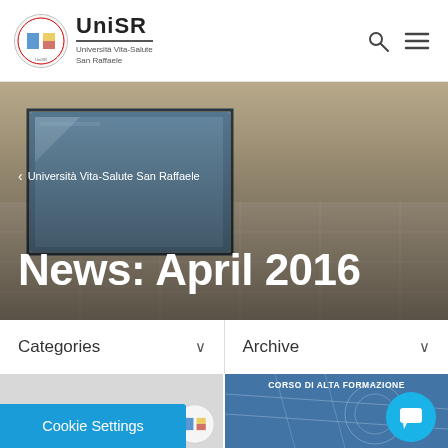[Figure (logo): UniSR Università Vita-Salute San Raffaele logo with circular crest]
UniSR — Università Vita-Salute San Raffaele
[Figure (photo): Hero banner photo of architectural interior with glass and stone surfaces]
Università Vita-Salute San Raffaele
News: April 2016
Categories ∨
Archive ∨
[Figure (photo): Left card thumbnail, gray background with UniSR logo]
[Figure (photo): Right card with dark blue background and CORSO DI ALTA FORMAZIONE header with old map illustration]
Cookie Settings
[Figure (illustration): Chat bubble icon, cyan circular button]